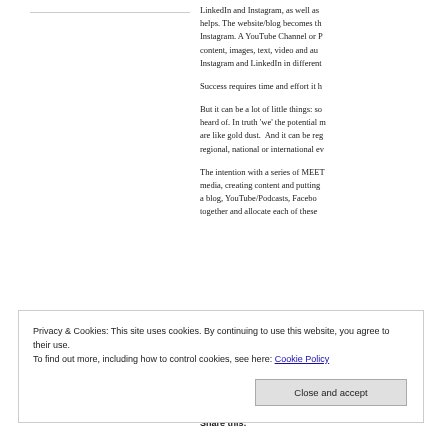LinkedIn and Instagram, as well as helps. The website/blog becomes the Instagram. A YouTube Channel or P content, images, text, video and au Instagram and LinkedIn in different
Success requires time and effort it h
But it can be a lot of little things: so heard of. In truth 'we' the potential m are like gold dust.  And it can be reg regional, national or international ev
The intention with a series of MEET media, creating content and putting a blog, YouTube/Podcasts, Facebo together and allocate each of these
Privacy & Cookies: This site uses cookies. By continuing to use this website, you agree to their use.
To find out more, including how to control cookies, see here: Cookie Policy
Close and accept
Share this: